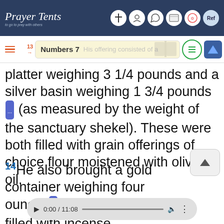Prayer Tents
Numbers 7
His offering consisted of a silver platter weighing 3 1/4 pounds and a silver basin weighing 1 3/4 pounds (as measured by the weight of the sanctuary shekel). These were both filled with grain offerings of choice flour moistened with olive oil.
14He also brought a gold container weighing four ounces, which was filled with incense.